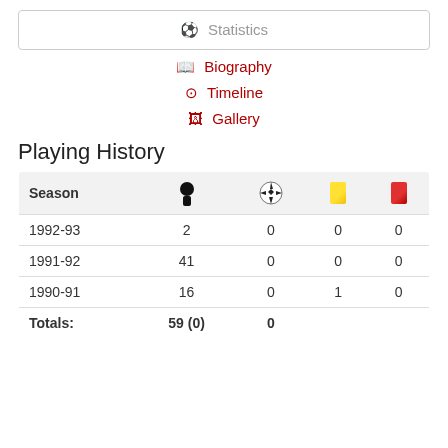⚽ Statistics
📖 Biography
⊙ Timeline
🖼 Gallery
Playing History
| Season | 👤 | ⚽ | 🟨 | 🟥 |
| --- | --- | --- | --- | --- |
| 1992-93 | 2 | 0 | 0 | 0 |
| 1991-92 | 41 | 0 | 0 | 0 |
| 1990-91 | 16 | 0 | 1 | 0 |
| Totals: | 59 (0) | 0 |  |  |